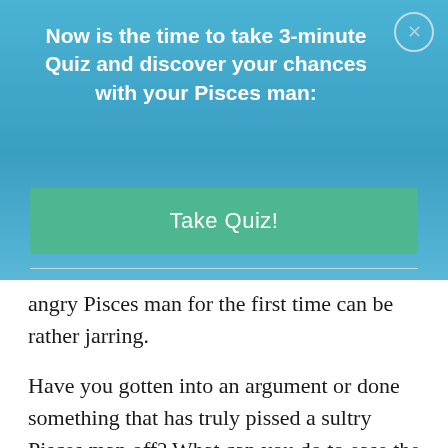Now is the time to take 3-minute Quiz and discover your chances with your Pisces man:
Take Quiz!
angry Pisces man for the first time can be rather jarring.
Have you gotten into an argument or done something that has truly pissed a sultry Pisces man off? What can you do to ease the tension with the angry Pisces man? And after all of that, how to get a Pisces man to forgive you?
The Pisces man when angry can be rather confusing